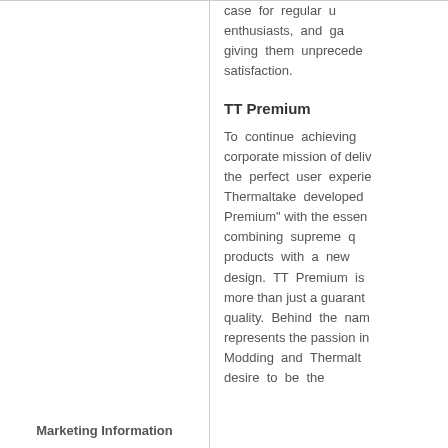case for regular u enthusiasts, and ga giving them unprecede satisfaction.
TT Premium
To continue achieving corporate mission of deliv the perfect user experie Thermaltake developed Premium" with the essen combining supreme q products with a new design. TT Premium is more than just a guarant quality. Behind the nam represents the passion in Modding and Thermalt desire to be the
Marketing Information